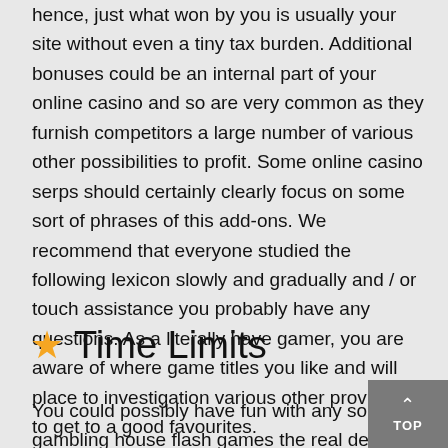hence, just what won by you is usually your site without even a tiny tax burden. Additional bonuses could be an internal part of your online casino and so are very common as they furnish competitors a large number of various other possibilities to profit. Some online casino serps should certainly clearly focus on some sort of phrases of this add-ons. We recommend that everyone studied the following lexicon slowly and gradually and / or touch assistance you probably have any questions. As a literally have gamer, you are aware of where game titles you like and will place to investigation various other providers to get to a good favourites.
⭐ Time Limits
You could possibly have fun with any sort of gambling house flash games the real deal profit reely, in on the web